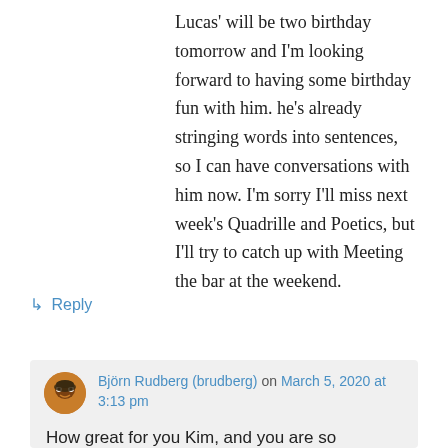Lucas' will be two birthday tomorrow and I'm looking forward to having some birthday fun with him. he's already stringing words into sentences, so I can have conversations with him now. I'm sorry I'll miss next week's Quadrille and Poetics, but I'll try to catch up with Meeting the bar at the weekend.
↳ Reply
Björn Rudberg (brudberg) on March 5, 2020 at 3:13 pm
How great for you Kim, and you are so prolific… so this will be a real difference for all of us.